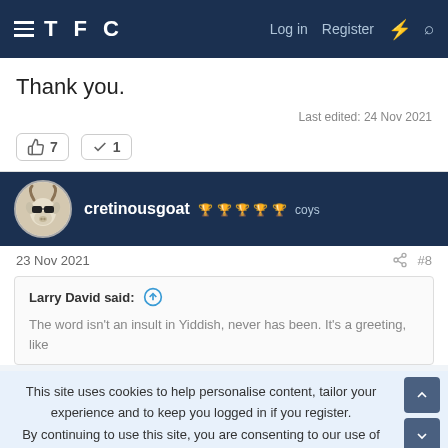TFC | Log in | Register
Thank you.
Last edited: 24 Nov 2021
👍 7  ✓ 1
cretinousgoat 🏆🏆🏆🏆🏆 coys
23 Nov 2021  #8
Larry David said:
The word isn't an insult in Yiddish, never has been. It's a greeting, like
This site uses cookies to help personalise content, tailor your experience and to keep you logged in if you register.
By continuing to use this site, you are consenting to our use of cookies.
✓ ACCEPT   LEARN MORE...